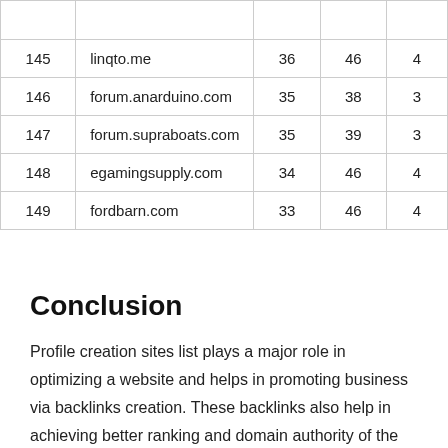| # | Website | Col3 | Col4 | Col5 |
| --- | --- | --- | --- | --- |
| 145 | linqto.me | 36 | 46 | 4 |
| 146 | forum.anarduino.com | 35 | 38 | 3 |
| 147 | forum.supraboats.com | 35 | 39 | 3 |
| 148 | egamingsupply.com | 34 | 46 | 4 |
| 149 | fordbarn.com | 33 | 46 | 4 |
Conclusion
Profile creation sites list plays a major role in optimizing a website and helps in promoting business via backlinks creation. These backlinks also help in achieving better ranking and domain authority of the blogger's website. The more profile creation sites and backlinks achieved...